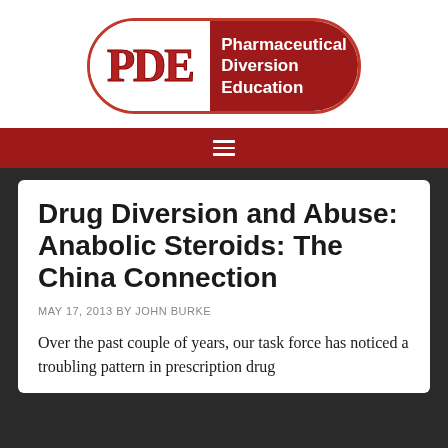[Figure (logo): PDE Pharmaceutical Diversion Education logo — a capsule shape with white left half containing red 'PDE' text and dark red right half containing white 'Pharmaceutical Diversion Education' text]
≡
Drug Diversion and Abuse: Anabolic Steroids: The China Connection
MAY 17, 2013 BY JOHN BURKE
Over the past couple of years, our task force has noticed a troubling pattern in prescription drug